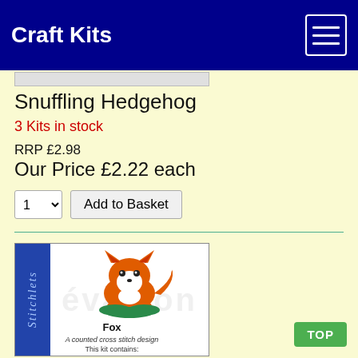Craft Kits
Snuffling Hedgehog
3 Kits in stock
RRP £2.98
Our Price £2.22 each
[Figure (photo): Cross stitch craft kit product card for a Fox design. Shows a stitched fox image with the title 'Fox', subtitle 'A counted cross stitch design', and 'This kit contains:' text. Blue sidebar with 'Stitchlets' text rotated.]
Fox
A counted cross stitch design
This kit contains: